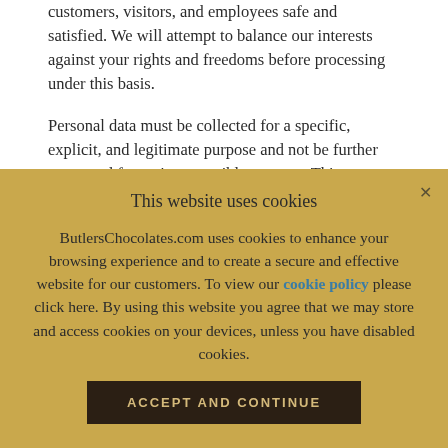customers, visitors, and employees safe and satisfied. We will attempt to balance our interests against your rights and freedoms before processing under this basis.
Personal data must be collected for a specific, explicit, and legitimate purpose and not be further processed for an incompatible purpose. This purpose limitation principle means we will tell you the specific purpose of the processing of your data and it will comply with all applicable laws. We will also not process your personal
This website uses cookies
ButlersChocolates.com uses cookies to enhance your browsing experience and to create a secure and effective website for our customers. To view our cookie policy please click here. By using this website you agree that we may store and access cookies on your devices, unless you have disabled cookies.
ACCEPT AND CONTINUE